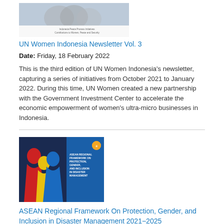[Figure (photo): Thumbnail image for UN Women Indonesia Newsletter Vol. 3, showing a photo of women at top and a text bar at bottom]
UN Women Indonesia Newsletter Vol. 3
Date: Friday, 18 February 2022
This is the third edition of UN Women Indonesia's newsletter, capturing a series of initiatives from October 2021 to January 2022. During this time, UN Women created a new partnership with the Government Investment Center to accelerate the economic empowerment of women's ultra-micro businesses in Indonesia.
[Figure (photo): Cover image of ASEAN Regional Framework publication showing colorful silhouettes of people against a blue background]
ASEAN Regional Framework On Protection, Gender, and Inclusion in Disaster Management 2021–2025
Date: Tuesday, 26 October 2021
The ASEAN Regional Framework on Protection, Gender, and